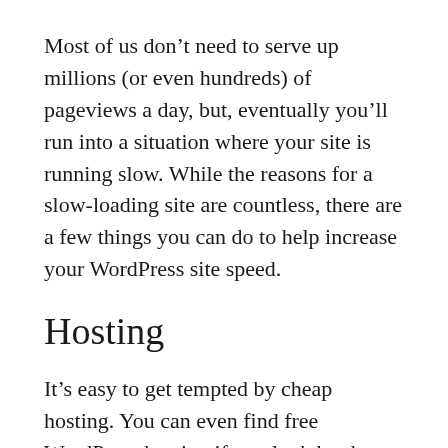Most of us don't need to serve up millions (or even hundreds) of pageviews a day, but, eventually you'll run into a situation where your site is running slow. While the reasons for a slow-loading site are countless, there are a few things you can do to help increase your WordPress site speed.
Hosting
It's easy to get tempted by cheap hosting. You can even find free WordPress hosting if you look hard enough! But, the old